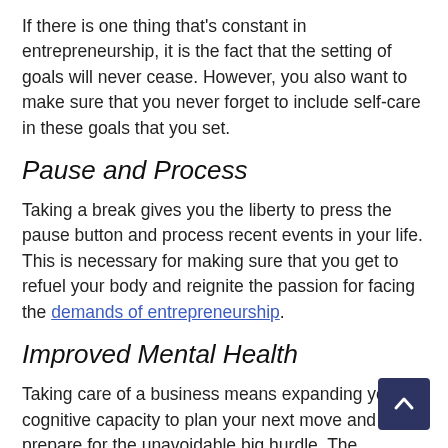If there is one thing that's constant in entrepreneurship, it is the fact that the setting of goals will never cease. However, you also want to make sure that you never forget to include self-care in these goals that you set.
Pause and Process
Taking a break gives you the liberty to press the pause button and process recent events in your life. This is necessary for making sure that you get to refuel your body and reignite the passion for facing the demands of entrepreneurship.
Improved Mental Health
Taking care of a business means expanding your cognitive capacity to plan your next move and prepare for the unavoidable big hurdle. The constant need to stay on top of